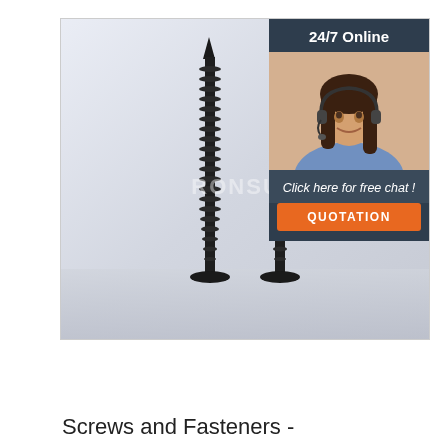[Figure (photo): Two long black drywall screws with sharp points and threaded shafts standing vertically, shown against a light gray gradient background. A watermark reading 'RONSUN' appears in the center. An overlay panel on the right shows a customer service representative with a headset and text '24/7 Online', 'Click here for free chat!', and an orange 'QUOTATION' button.]
Screws and Fasteners -